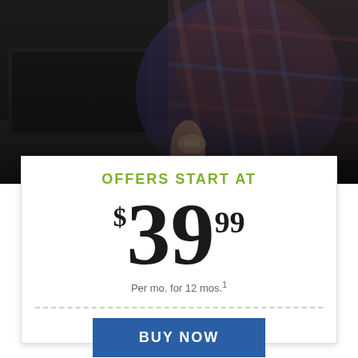[Figure (photo): Person in plaid shirt sitting at a desk, photographed from behind/side, with dark overlay background]
OFFERS START AT
$39.99
Per mo. for 12 mos.1
BUY NOW